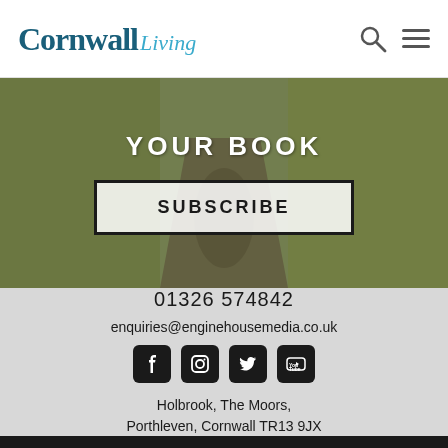Cornwall Living
[Figure (screenshot): Hero image of a road/path scene with cyclists, overlaid with text 'YOUR BOOK' and a SUBSCRIBE button]
01326 574842
enquiries@enginehousemedia.co.uk
[Figure (illustration): Social media icons: Facebook, Instagram, Twitter, YouTube]
Holbrook, The Moors, Porthleven, Cornwall TR13 9JX